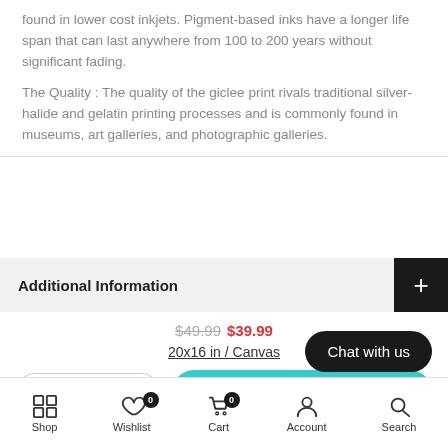found in lower cost inkjets. Pigment-based inks have a longer life span that can last anywhere from 100 to 200 years without significant fading.
The Quality : The quality of the giclee print rivals traditional silver-halide and gelatin printing processes and is commonly found in museums, art galleries, and photographic galleries.
Additional Information
$49.99 $39.99
20x16 in / Canvas
— 1 + ADD TO CART
Chat with us
Shop  Wishlist  Cart  Account  Search